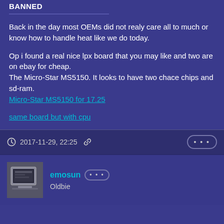BANNED
Back in the day most OEMs did not realy care all to much or know how to handle heat like we do today.

Op i found a real nice lpx board that you may like and two are on ebay for cheap.
The Micro-Star MS5150. It looks to have two chace chips and sd-ram.
Micro-Star MS5150 for 17.25

same board but with cpu
2017-11-29, 22:25
emosun
Oldbie